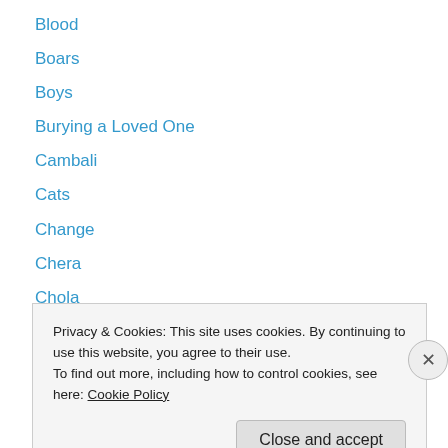Blood
Boars
Boys
Burying a Loved One
Cambali
Cats
Change
Chera
Chola
Coat of Arms
Consciousness
Cooking
Crazy
Privacy & Cookies: This site uses cookies. By continuing to use this website, you agree to their use.
To find out more, including how to control cookies, see here: Cookie Policy
Close and accept